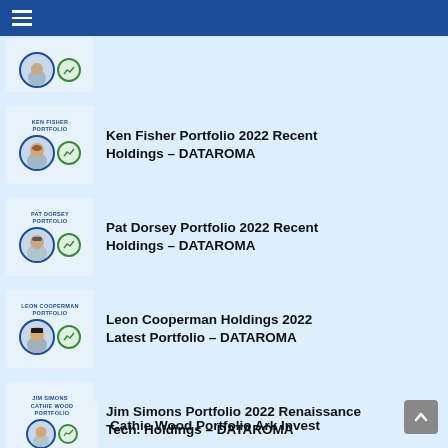DATAROMA – Portfolio navigation
Ken Fisher Portfolio 2022 Recent Holdings – DATAROMA
Pat Dorsey Portfolio 2022 Recent Holdings – DATAROMA
Leon Cooperman Holdings 2022 Latest Portfolio – DATAROMA
Jim Simons Portfolio 2022 Renaissance Tech. Holdings – DATAROMA
Cathie Wood Portfolio Ark Invest